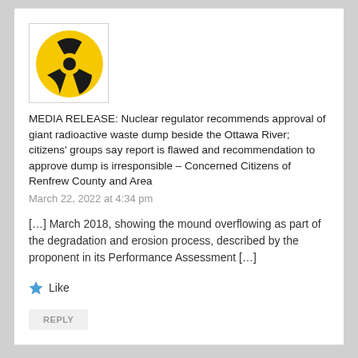[Figure (logo): Nuclear hazard symbol (radioactive trefoil) in black and yellow on a white background, inside a bordered box]
MEDIA RELEASE: Nuclear regulator recommends approval of giant radioactive waste dump beside the Ottawa River; citizens' groups say report is flawed and recommendation to approve dump is irresponsible – Concerned Citizens of Renfrew County and Area
March 22, 2022 at 4:34 pm
[…] March 2018, showing the mound overflowing as part of the degradation and erosion process, described by the proponent in its Performance Assessment […]
Like
REPLY